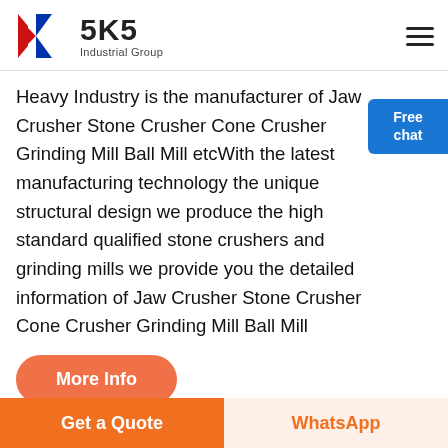[Figure (logo): SKS Industrial Group logo with a K-shaped chevron in red and blue, and the text SKS Industrial Group]
Heavy Industry is the manufacturer of Jaw Crusher Stone Crusher Cone Crusher Grinding Mill Ball Mill etcWith the latest manufacturing technology the unique structural design we produce the high standard qualified stone crushers and grinding mills we provide you the detailed information of Jaw Crusher Stone Crusher Cone Crusher Grinding Mill Ball Mill
[Figure (illustration): Free chat widget with a person illustration and blue rounded rectangle button with white text Free chat]
[Figure (photo): Row of product photos at the bottom: metallic surface, dark mesh, green machine, orange circular object]
More Info
Get a Quote
WhatsApp